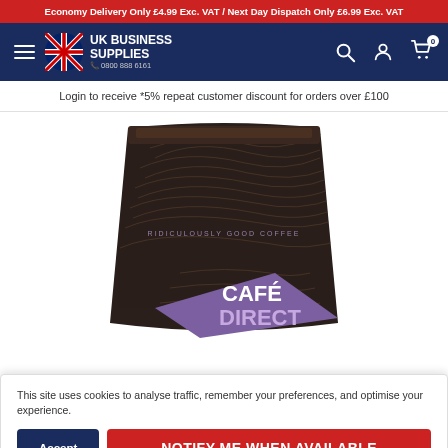Economy Delivery Only £4.99 Exc. VAT / Next Day Dispatch Only £6.99 Exc. VAT
[Figure (logo): UK Business Supplies logo with Union Jack circle icon and text 'UK BUSINESS SUPPLIES 0800 888 6161' on navy navigation bar, with search, account, and cart icons]
Login to receive *5% repeat customer discount for orders over £100
[Figure (photo): Dark brown coffee bag with topographic line pattern, purple/lavender label area with text 'CAFÉ DIRECT' and small text 'RIDICULOUSLY GOOD COFFEE']
This site uses cookies to analyse traffic, remember your preferences, and optimise your experience.
Accept
NOTIFY ME WHEN AVAILABLE